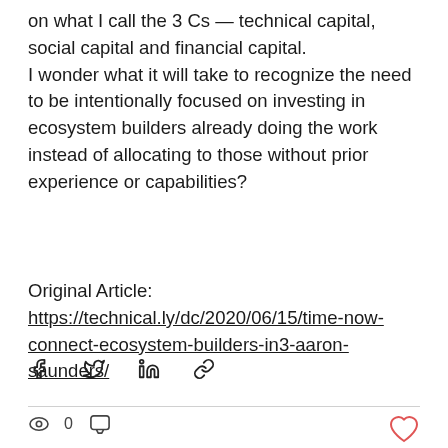on what I call the 3 Cs — technical capital, social capital and financial capital.
I wonder what it will take to recognize the need to be intentionally focused on investing in ecosystem builders already doing the work instead of allocating to those without prior experience or capabilities?
Original Article:
https://technical.ly/dc/2020/06/15/time-now-connect-ecosystem-builders-in3-aaron-saunders/
[Figure (other): Social sharing icons: Facebook, Twitter, LinkedIn, link/chain icon]
0
[Figure (other): Heart/like icon (red outline)]